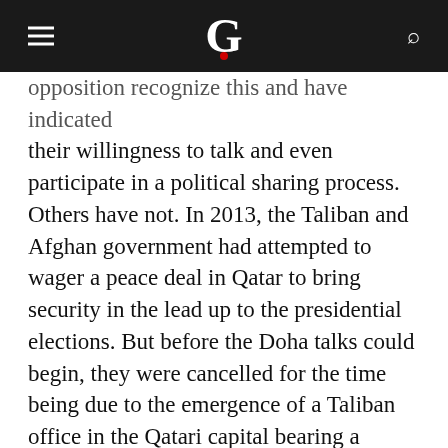G
opposition recognize this and have indicated their willingness to talk and even participate in a political sharing process. Others have not. In 2013, the Taliban and Afghan government had attempted to wager a peace deal in Qatar to bring security in the lead up to the presidential elections. But before the Doha talks could begin, they were cancelled for the time being due to the emergence of a Taliban office in the Qatari capital bearing a Taliban banner and flag. While the talks are not discontinued, they are not going anywhere at the moment. There is also suspicion among pro-Kabul representatives that the Pakistanis (who are involved in the talks) cannot be